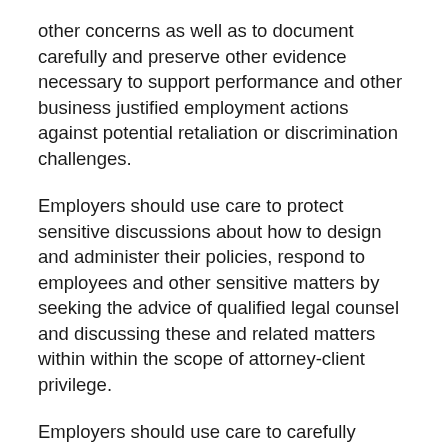other concerns as well as to document carefully and preserve other evidence necessary to support performance and other business justified employment actions against potential retaliation or discrimination challenges.
Employers should use care to protect sensitive discussions about how to design and administer their policies, respond to employees and other sensitive matters by seeking the advice of qualified legal counsel and discussing these and related matters within within the scope of attorney-client privilege.
Employers should use care to carefully consider and document their decisions, including the basis and evidence supporting their justification in all workforce dealings keeping in mind that charges of retaliation or